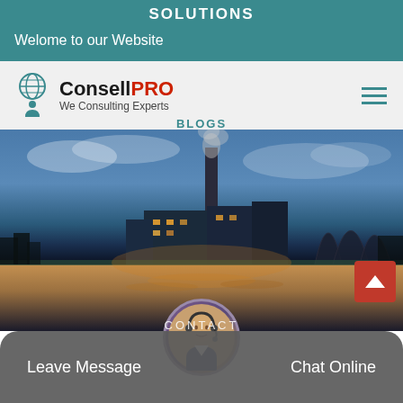SOLUTIONS
Welome to our Website
[Figure (logo): ConsellPRO logo with globe and figure icon, tagline: We Consulting Experts]
[Figure (photo): Industrial factory scene with smokestack, cooling towers, and water reflection at dusk/night]
CONTACT
Blogs
Home  /  jaw crusher  /  crusher mills for sale in karnataka
Leave Message
Chat Online